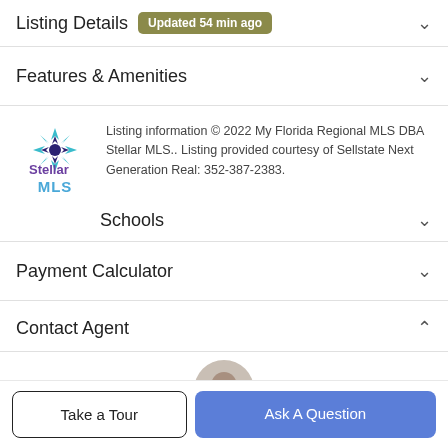Listing Details  Updated 54 min ago
Features & Amenities
Listing information © 2022 My Florida Regional MLS DBA Stellar MLS.. Listing provided courtesy of Sellstate Next Generation Real: 352-387-2383.
Schools
Payment Calculator
Contact Agent
Take a Tour
Ask A Question